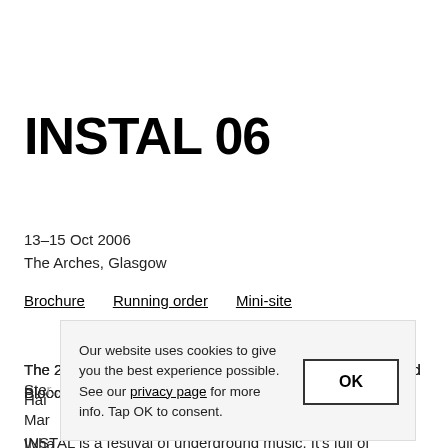INSTAL 06
13–15 Oct 2006
The Arches, Glasgow
Brochure   Running order   Mini-site
The 2006 INSTAL saw a broad range of artists that included Blood Ste[reo…] Hai[r…] Mar[…]
Wha[t…]
INSTAL is a festival of underground music. It's full of musicians
Our website uses cookies to give you the best experience possible. See our privacy page for more info. Tap OK to consent.